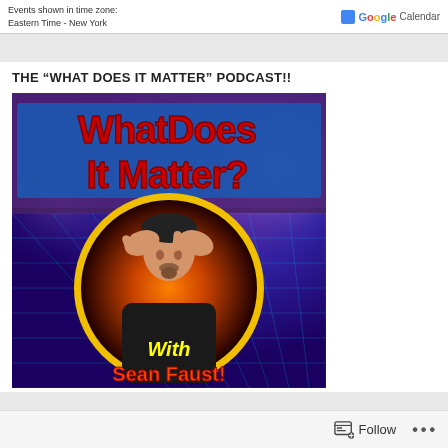Events shown in time zone:
Eastern Time - New York
THE “WHAT DOES IT MATTER” PODCAST!!
[Figure (illustration): Podcast cover art for 'What Does It Matter?' podcast with Sean Faust. Red bold text 'WHAT DOES IT MATTER?' on a retro grid background with a man holding his head in his hands inside a yellow circle.]
Follow ...